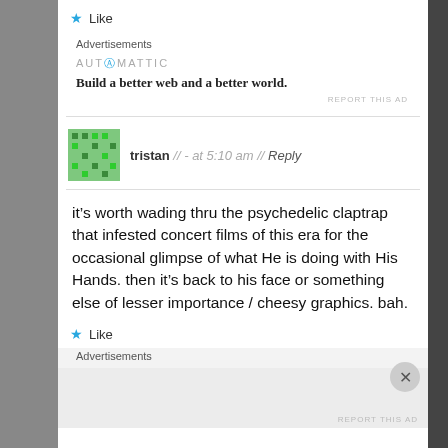Like
Advertisements
[Figure (logo): Automattic logo with tagline: Build a better web and a better world.]
REPORT THIS AD
tristan // - at 5:10 am // Reply
it’s worth wading thru the psychedelic claptrap that infested concert films of this era for the occasional glimpse of what He is doing with His Hands. then it’s back to his face or something else of lesser importance / cheesy graphics. bah.
Like
Advertisements
REPORT THIS AD